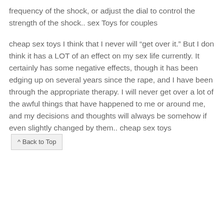frequency of the shock, or adjust the dial to control the strength of the shock.. sex Toys for couples
cheap sex toys I think that I never will “get over it.” But I don think it has a LOT of an effect on my sex life currently. It certainly has some negative effects, though it has been edging up on several years since the rape, and I have been through the appropriate therapy. I will never get over a lot of the awful things that have happened to me or around me, and my decisions and thoughts will always be somehow if even slightly changed by them.. cheap sex toys